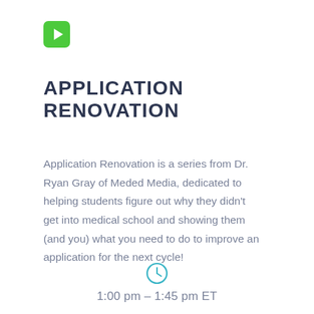[Figure (logo): Green rounded square with white play button triangle icon]
APPLICATION RENOVATION
Application Renovation is a series from Dr. Ryan Gray of Meded Media, dedicated to helping students figure out why they didn't get into medical school and showing them (and you) what you need to do to improve an application for the next cycle!
[Figure (illustration): Clock icon — teal/cyan outlined circle with clock hands]
1:00 pm – 1:45 pm ET